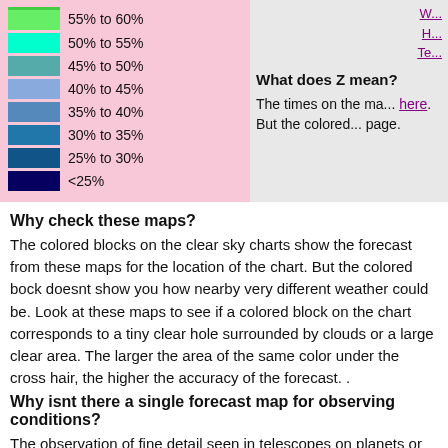[Figure (other): Color legend for sky clarity percentages: color swatches from green (top, >55-60%) through cyan, teal, various blues down to dark navy (<25%), on a pink background. Top swatch cut off at top.]
What does Z mean? (partial, cut off at right)
The times on the ma... here. But the colored... page.
Why check these maps?
The colored blocks on the clear sky charts show the forecast from these maps for the location of the chart. But the colored bock doesnt show you how nearby very different weather could be. Look at these maps to see if a colored block on the chart corresponds to a tiny clear hole surrounded by clouds or a large clear area. The larger the area of the same color under the cross hair, the higher the accuracy of the forecast. .
Why isnt there a single forecast map for observing conditions?
The observation of fine detail seen in telescopes on planets or the moon requires good seeing but can still be good during poor